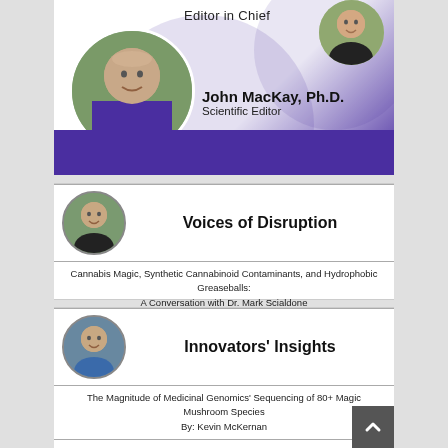Editor in Chief
[Figure (photo): Circular portrait photo of Editor in Chief (small, top right)]
[Figure (photo): Circular portrait photo of John MacKay, Ph.D., Scientific Editor (large)]
John MacKay, Ph.D.
Scientific Editor
Voices of Disruption
[Figure (photo): Circular portrait photo next to 'Voices of Disruption' heading]
Cannabis Magic, Synthetic Cannabinoid Contaminants, and Hydrophobic Greaseballs: A Conversation with Dr. Mark Scialdone
Innovators' Insights
[Figure (photo): Circular portrait photo next to 'Innovators' Insights' heading]
The Magnitude of Medicinal Genomics' Sequencing of 80+ Magic Mushroom Species
By: Kevin McKernan